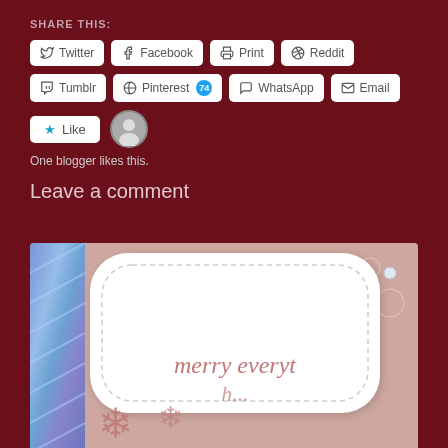SHARE THIS:
Twitter | Facebook | Print | Reddit
Tumblr | Pinterest 74 | WhatsApp | Email
Like
One blogger likes this.
Leave a comment
[Figure (photo): Close-up photo of a white die-cut card with scalloped/cloud-shaped edges and dashed stitch border, featuring rose gold snowflake embellishments and the text 'merry everyth...' in rose gold italic script, placed on a pink floral background with blue holographic elements visible at the edges.]